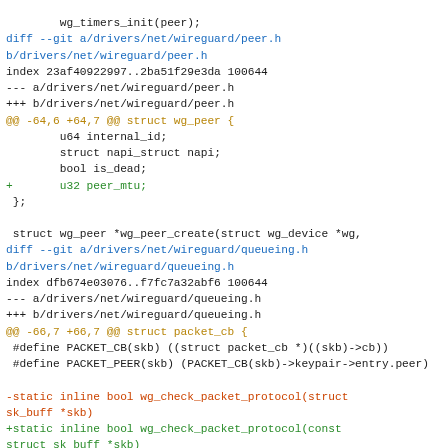Git diff code showing changes to wireguard peer.h and queueing.h files